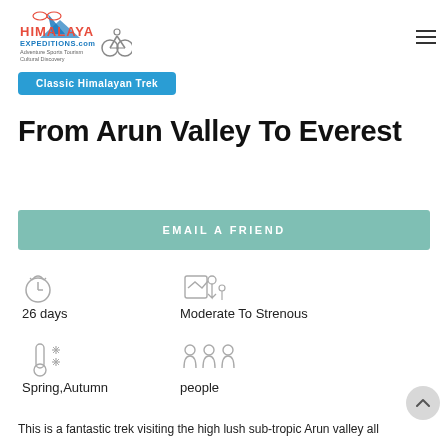[Figure (logo): Himalaya Expedition logo with mountains, text 'HIMALAYA EXPEDITIONS.com', subtitle 'Adventure Sports Tourism Cultural Discovery']
Classic Himalayan Trek
From Arun Valley To Everest
EMAIL A FRIEND
26 days
Moderate To Strenous
Spring,Autumn
people
This is a fantastic trek visiting the high lush sub-tropic Arun valley all